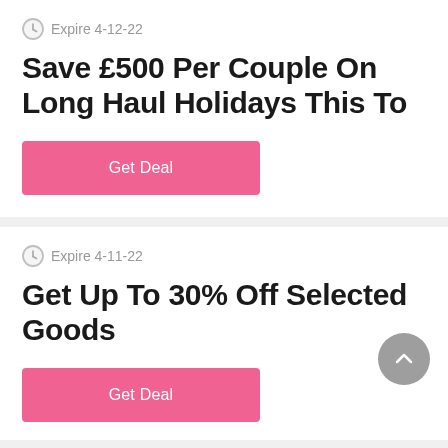Expire 4-12-22
Save £500 Per Couple On Long Haul Holidays This To
Get Deal
Expire 4-11-22
Get Up To 30% Off Selected Goods
Get Deal